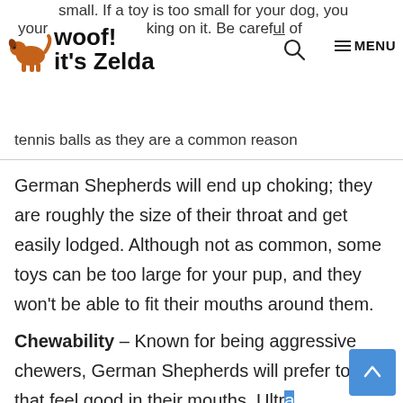small. If a toy is too small for your dog, you risk your dog choking on it. Be careful of tennis balls as they are a common reason
[Figure (logo): Dog logo with text 'woof! it's Zelda' and navigation icons including search and MENU]
German Shepherds will end up choking; they are roughly the size of their throat and get easily lodged. Although not as common, some toys can be too large for your pup, and they won't be able to fit their mouths around them.
Chewability – Known for being aggressive chewers, German Shepherds will prefer toys that feel good in their mouths. Ultra durable toys are essential and the most